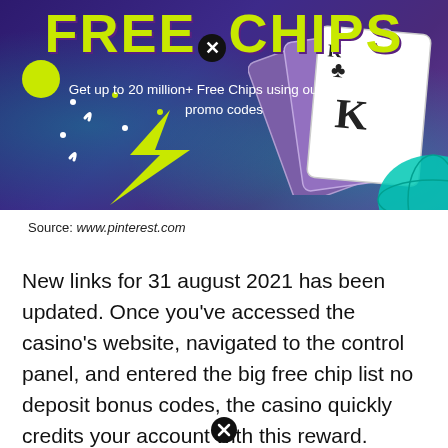[Figure (illustration): Casino promotional banner with dark purple background, showing 'FREE CHIPS' in large yellow-green letters with a close/X icon, playing cards (King of clubs) fanned out on the right, teal globe bottom right, yellow-green zigzag lightning bolt and green circle on the left, decorative dots and curves, subtitle text 'Get up to 20 million+ Free Chips using our links and promo codes']
Source: www.pinterest.com
New links for 31 august 2021 has been updated. Once you've accessed the casino's website, navigated to the control panel, and entered the big free chip list no deposit bonus codes, the casino quickly credits your account with this reward.